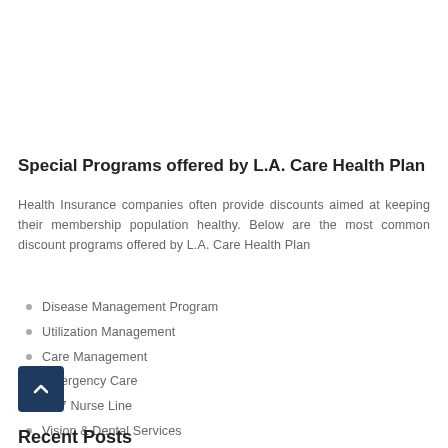Special Programs offered by L.A. Care Health Plan
Health Insurance companies often provide discounts aimed at keeping their membership population healthy. Below are the most common discount programs offered by L.A. Care Health Plan
Disease Management Program
Utilization Management
Care Management
Emergency Care
24/7 Nurse Line
Vision & Dental Services
Recent Posts